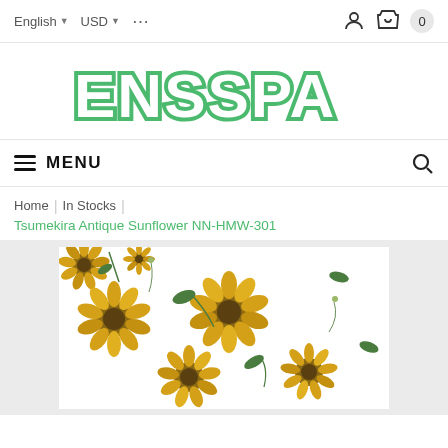English  USD  ...  [person icon]  [basket] 0
[Figure (logo): ENSSPA logo in large green outlined bubble letters on white background]
MENU  [search icon]
Home | In Stocks | Tsumekira Antique Sunflower NN-HMW-301
[Figure (photo): Product photo showing nail art stickers with sunflower designs — various sizes of yellow sunflowers with green leaves on white background]